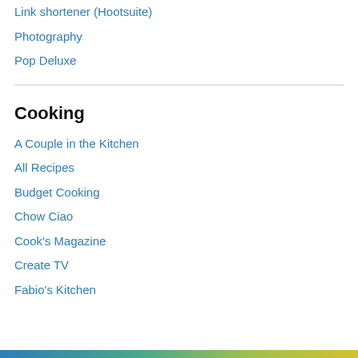Link shortener (Hootsuite)
Photography
Pop Deluxe
Cooking
A Couple in the Kitchen
All Recipes
Budget Cooking
Chow Ciao
Cook's Magazine
Create TV
Fabio's Kitchen
Privacy & Cookies: This site uses cookies. By continuing to use this website, you agree to their use. To find out more, including how to control cookies, see here: Cookie Policy
Close and accept